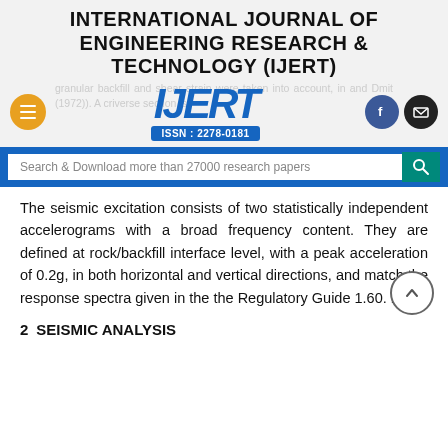INTERNATIONAL JOURNAL OF ENGINEERING RESEARCH & TECHNOLOGY (IJERT)
[Figure (logo): IJERT logo with ISSN: 2278-0181 badge, navigation icons including hamburger menu, Facebook and email icons]
Search & Download more than 27000 research papers
The seismic excitation consists of two statistically independent accelerograms with a broad frequency content. They are defined at rock/backfill interface level, with a peak acceleration of 0.2g, in both horizontal and vertical directions, and match the response spectra given in the the Regulatory Guide 1.60. 1.00
2  SEISMIC ANALYSIS